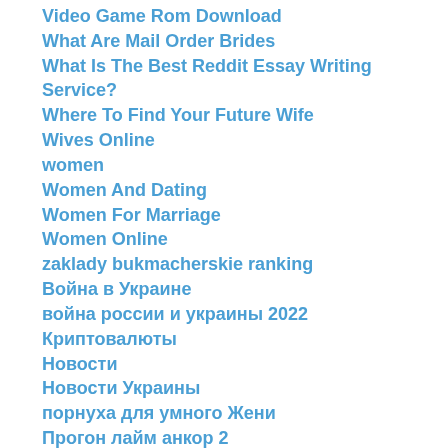Video Game Rom Download
What Are Mail Order Brides
What Is The Best Reddit Essay Writing Service?
Where To Find Your Future Wife
Wives Online
women
Women And Dating
Women For Marriage
Women Online
zaklady bukmacherskie ranking
Война в Украине
война россии и украины 2022
Криптовалюты
Новости
Новости Украины
порнуха для умного Жени
Прогон лайм анкор 2
Программирование
Ремонт Автомобилей
Финансовые Новости
Финансы Украины
Финтех